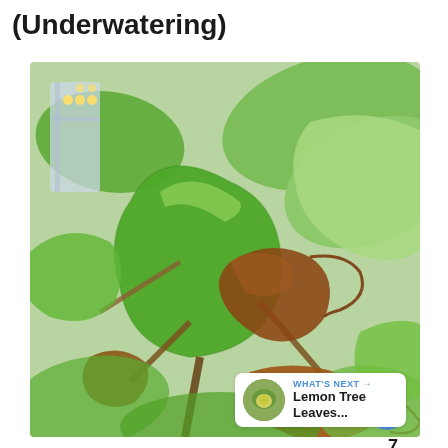(Underwatering)
[Figure (photo): Close-up photo of a Monstera or philodendron plant with large green leaves, some of which are brown, dried, and shriveled — showing signs of underwatering. The plant is photographed indoors near a window with a grow light visible in the background.]
WHAT'S NEXT → Lemon Tree Leaves...